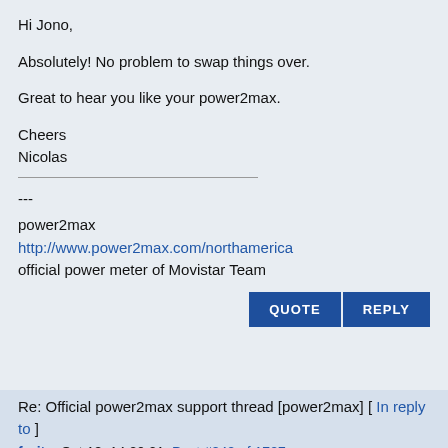Hi Jono,
Absolutely! No problem to swap things over.
Great to hear you like your power2max.
Cheers
Nicolas
---
power2max
http://www.power2max.com/northamerica
official power meter of Movistar Team
Re: Official power2max support thread [power2max] [ In reply to ]
fruity  Oct 18, 14 20:21  Post #842 of 1727
with the power2max type s road does it need to be a renata